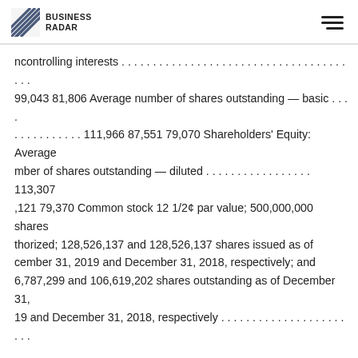BUSINESS RADAR
ncontrolling interests . . . . . . . . . . . . . . . . . . . . . . . . . . . . . . . . . . . . . . . . . . . . . . . . 99,043 81,806 Average number of shares outstanding — basic . . . . . . . . . . . . . . 111,966 87,551 79,070 Shareholders' Equity: Average number of shares outstanding — diluted . . . . . . . . . . . . . . . . . . . . 113,307 ,121 79,370 Common stock 12 1/2¢ par value; 500,000,000 shares authorized; 128,526,137 and 128,526,137 shares issued as of December 31, 2019 and December 31, 2018, respectively; and 106,787,299 and 106,619,202 shares outstanding as of December 31, 2019 and December 31, 2018, respectively . . . . . . . . . . . . . . . . . . . . . . . . . . . . . . . . . . . . . . . . . . . . . . . . . 16,066 16,066 Capital in excess of par value . . . . . . . . . . . . . . . . . . . . . . . . . . . . . . . . . . . . . . . . . . . . . . . . . . . . . 3,823,152 3,793,609 Retained earnings . . . . . . . . . . . . . . . . . . . . . . . . . . . . . . . . . . . . . . . . . . . . . . . . . . . . . 4,117,804 3,956,221 Accumulated other comprehensive losses: Cumulative translation adjustments . . . . . . . . . . . . . . . . . . . . . . . . . . . . . . . . . . . . . . . . . . . . (373,043) (396,996) Accumulated gains on derivatives qualifying as hedges . . . . . . . . . . . . . . . . . . . . . . . . . . . . . 2,068 4,746 Pension